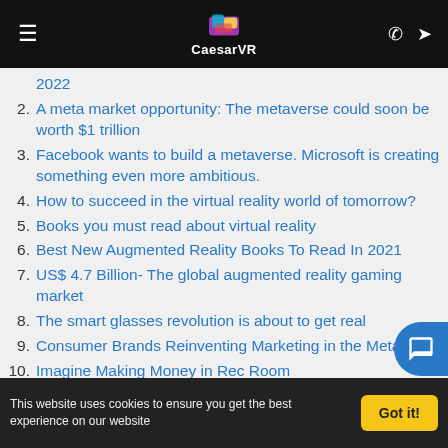CaesarVR
2022
2. A meta market opportunity: The metaverse could soon be worth $1 trillion
3. Facebook wants to build a metaverse. Microsoft is creating something even more ambitious.
4. How to succeed in the virtual reality world of tomorrow?
5. Books you must read about virtual reality
6. Best New Augmented Reality Books To Read In 2021
7. US$ 4.7 Billion- The global augmented reality gaming market
8. The smart glasses revolution is about to get real
9. Consumer Brands Reinventing Marketing in the Metaverse
10. Imagine Making Money in Rec Room
11. The biggest AR and VR predictions of 2022
This website uses cookies to ensure you get the best experience on our website  Got it!